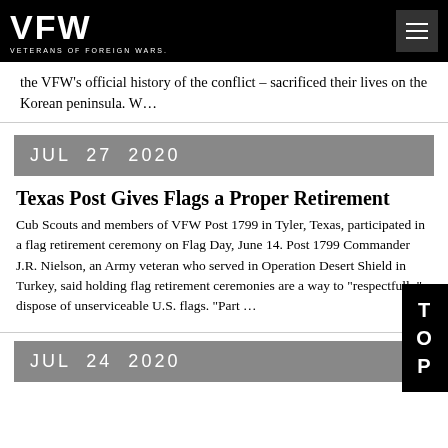VFW VETERANS OF FOREIGN WARS.
the VFW's official history of the conflict – sacrificed their lives on the Korean peninsula. W...
JUL 27 2020
Texas Post Gives Flags a Proper Retirement
Cub Scouts and members of VFW Post 1799 in Tyler, Texas, participated in a flag retirement ceremony on Flag Day, June 14. Post 1799 Commander J.R. Nielson, an Army veteran who served in Operation Desert Shield in Turkey, said holding flag retirement ceremonies are a way to "respectfully" dispose of unserviceable U.S. flags. "Part ...
JUL 24 2020